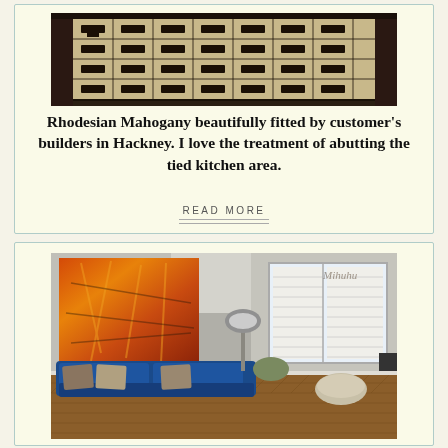[Figure (photo): Top-down view of decorative Victorian/Edwardian geometric floor tiles in black and white pattern, Rhodesian Mahogany wood flooring visible at edges]
Rhodesian Mahogany beautifully fitted by customer's builders in Hackney. I love the treatment of abutting the tied kitchen area.
READ MORE
[Figure (photo): Living room interior with herringbone wood parquet flooring, large abstract red/orange artwork on wall, blue velvet sofa with cushions, bay window with white shutters, floor lamp, watermark 'Mihuhu']